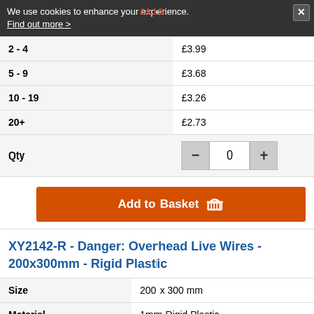We use cookies to enhance your experience. Find out more >
| Qty | Price |
| --- | --- |
| 2 - 4 | £3.99 |
| 5 - 9 | £3.68 |
| 10 - 19 | £3.26 |
| 20+ | £2.73 |
| Qty | 0 |
Add to Basket
XY2142-R - Danger: Overhead Live Wires - 200x300mm - Rigid Plastic
| Attribute | Value |
| --- | --- |
| Size | 200 x 300 mm |
| Material | 1mm Rigid Plastic |
| 1 | £7.35 |
| 2 - 4 | £7.14 |